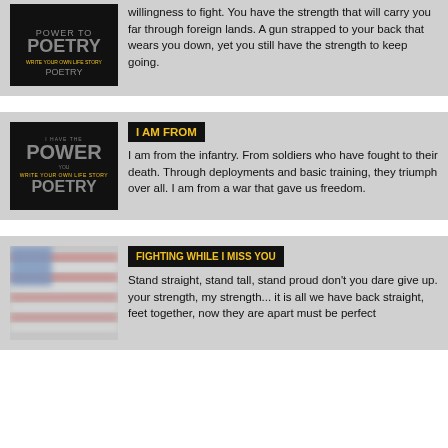willingness to fight. You have the strength that will carry you far through foreign lands. A gun strapped to your back that wears you down, yet you still have the strength to keep going.
[Figure (photo): Power of Poetry logo on black background]
I AM FROM
I am from the infantry. From soldiers who have fought to their death. Through deployments and basic training, they triumph over all. I am from a war that gave us freedom.
[Figure (photo): Blurry American flag image]
FIGHTING WHILE I MISS YOU
Stand straight, stand tall, stand proud don't you dare give up. your strength, my strength... it is all we have back straight, feet together, now they are apart must be perfect